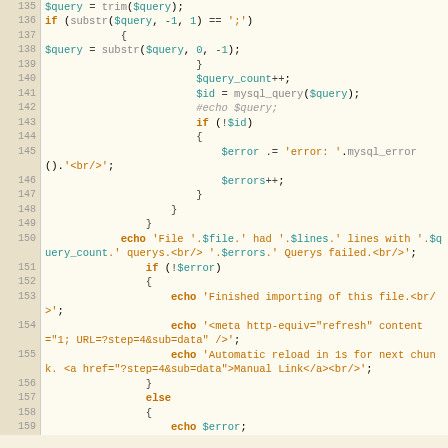[Figure (screenshot): PHP source code snippet showing lines 135–159, displaying database query processing logic with syntax highlighting. Line numbers in beige column on left, code on cream background. Keywords in bold orange, variables in teal, comments in gray, strings in orange.]